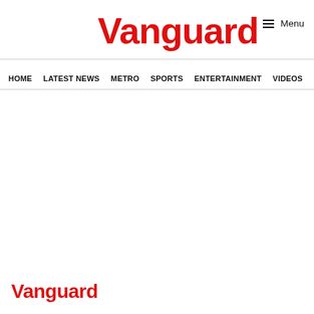Vanguard
≡ Menu
HOME   LATEST NEWS   METRO   SPORTS   ENTERTAINMENT   VIDEOS
Vanguard